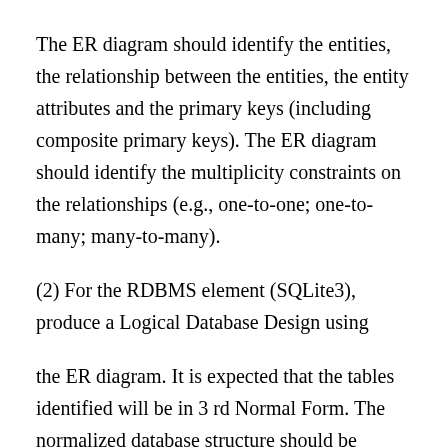The ER diagram should identify the entities, the relationship between the entities, the entity attributes and the primary keys (including composite primary keys). The ER diagram should identify the multiplicity constraints on the relationships (e.g., one-to-one; one-to-many; many-to-many).
(2) For the RDBMS element (SQLite3), produce a Logical Database Design using
the ER diagram. It is expected that the tables identified will be in 3 rd Normal Form. The normalized database structure should be expressed using the bracketing notation. It should identify link tables and foreign